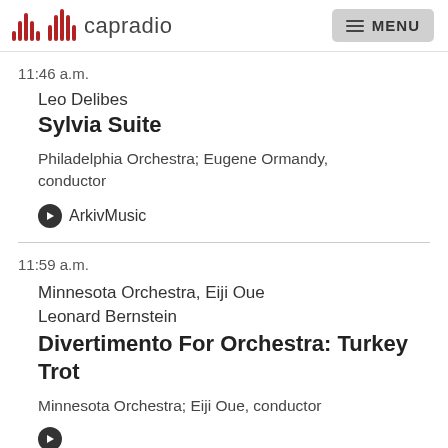capradio  MENU
11:46 a.m.
Leo Delibes
Sylvia Suite
Philadelphia Orchestra; Eugene Ormandy, conductor
ArkivMusic
11:59 a.m.
Minnesota Orchestra, Eiji Oue
Leonard Bernstein
Divertimento For Orchestra: Turkey Trot
Minnesota Orchestra; Eiji Oue, conductor